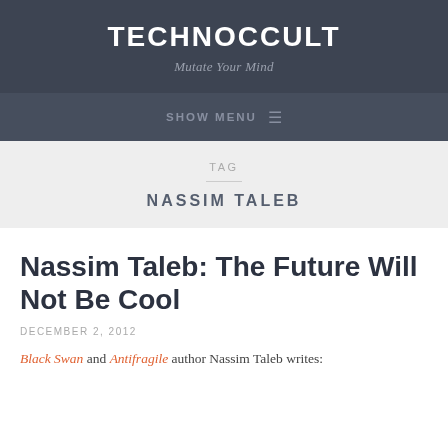TECHNOCCULT
Mutate Your Mind
SHOW MENU
TAG
NASSIM TALEB
Nassim Taleb: The Future Will Not Be Cool
DECEMBER 2, 2012
Black Swan and Antifragile author Nassim Taleb writes: